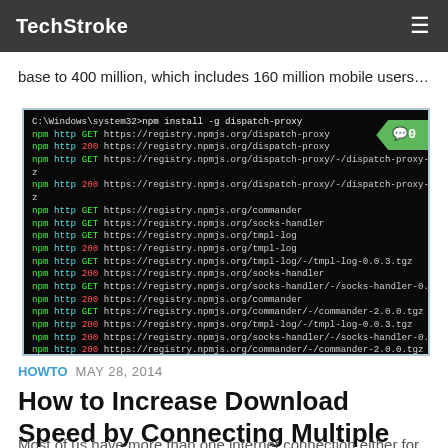TechStroke
base to 400 million, which includes 160 million mobile users…
[Figure (screenshot): Terminal window showing npm install -g dispatch-proxy command output with multiple HTTP GET and 200 responses from registry.npmjs.org for packages including dispatch-proxy, commander, socks-handler, tmpl-log, and others. A green comment badge showing '0' appears in the top-right corner.]
HOWTO  MAY 28, 2014
How to Increase Download Speed by Connecting Multiple Internet Connections
Most of us have more than one internet connection either for